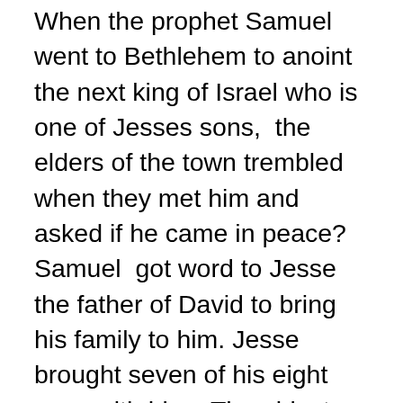When the prophet Samuel went to Bethlehem to anoint the next king of Israel who is one of Jesses sons,  the elders of the town trembled when they met him and asked if he came in peace? Samuel  got word to Jesse the father of David to bring his family to him. Jesse brought seven of his eight sons with him.  The eldest Eliab was tall and handsome and Samuel thought surely this was the next king but the Lord said, “Do not consider his appearance or his height, for I have rejected him. The Lord does not look at the things people look at. People look at the outward appearance, but the Lord looks at the heart.” The Lord said no this is not the one chosen seven times. Samuel asked Jesse , do you have any more sons? Jesse told him there is still the youngest and he is tending sheep. Of course when David the youngest walked in the Lord said this is the next king and Samuel anointed him in front of all his brothers and the Holy Spirit came upon David that day.